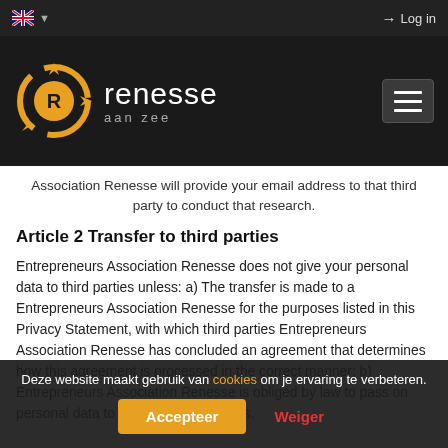Log in
[Figure (logo): Renesse aan zee logo with yellow/orange compass-like R icon and white text]
Association Renesse will provide your email address to that third party to conduct that research.
Article 2 Transfer to third parties
Entrepreneurs Association Renesse does not give your personal data to third parties unless: a) The transfer is made to a Entrepreneurs Association Renesse for the purposes listed in this Privacy Statement, with which third parties Entrepreneurs Association Renesse has concluded an agreement that determines how this agreement is processed in the correct manner; b) Entrepreneurs Association Renesse is obliged by law to pass on personal data to competent authorities.
Deze website maakt gebruik van cookies om je ervaring te verbeteren.